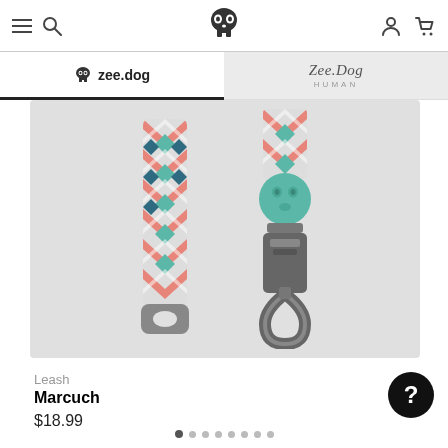zee.dog navigation bar with menu, search, skull logo, account and cart icons
zee.dog | Zee.Dog HUMAN tabs
[Figure (photo): Product photo of a dog leash with colorful chevron/geometric pattern in coral, teal, and white with dark metal clip hardware shown from two angles on gray background]
Leash
Marcuch
$18.99